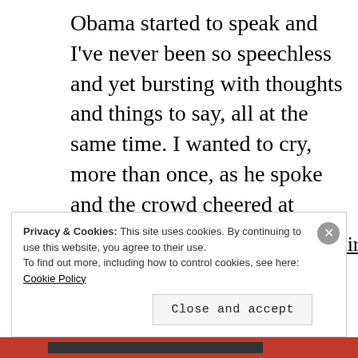Obama started to speak and I've never been so speechless and yet bursting with thoughts and things to say, all at the same time. I wanted to cry, more than once, as he spoke and the crowd cheered at various statements he made.
http://abcnews.go.com/Politics/wireStory/latest-obama-arrives-canada-us-mexico-summit-40217479
Privacy & Cookies: This site uses cookies. By continuing to use this website, you agree to their use.
To find out more, including how to control cookies, see here: Cookie Policy
Close and accept